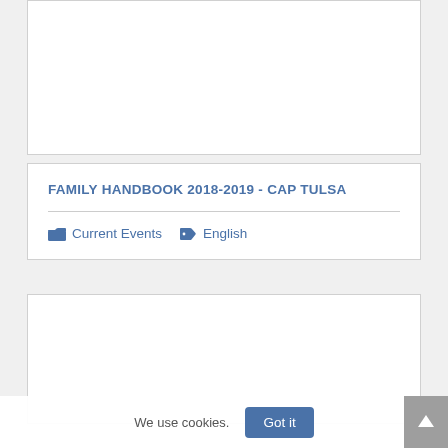FAMILY HANDBOOK 2018-2019 - CAP TULSA
Current Events  English
We use cookies.